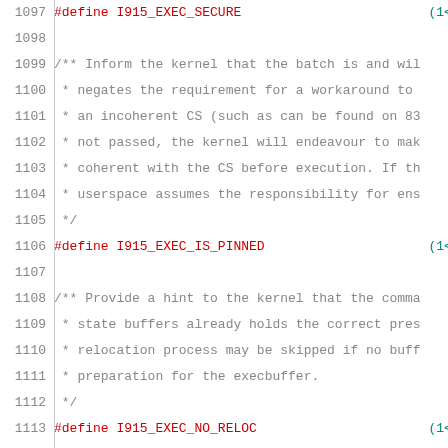1097    #define I915_EXEC_SECURE    (1<<9)
1098
1099    /** Inform the kernel that the batch is and wil
1100     * negates the requirement for a workaround to
1101     * an incoherent CS (such as can be found on 83
1102     * not passed, the kernel will endeavour to mak
1103     * coherent with the CS before execution. If th
1104     * userspace assumes the responsibility for ens
1105     */
1106    #define I915_EXEC_IS_PINNED    (1<<10)
1107
1108    /** Provide a hint to the kernel that the comma
1109     * state buffers already holds the correct pres
1110     * relocation process may be skipped if no buff
1111     * preparation for the execbuffer.
1112     */
1113    #define I915_EXEC_NO_RELOC    (1<<11)
1114
1115    /** Use the reloc.handle as an index into the e
1116     * than as the per-file handle.
1117     */